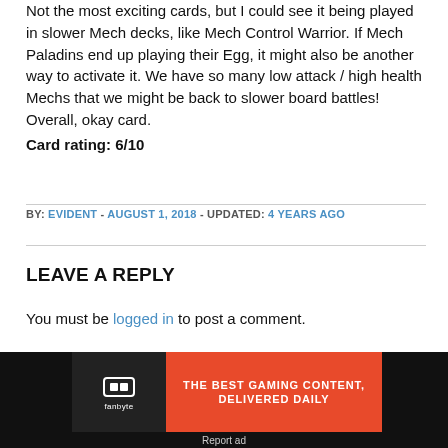Not the most exciting cards, but I could see it being played in slower Mech decks, like Mech Control Warrior. If Mech Paladins end up playing their Egg, it might also be another way to activate it. We have so many low attack / high health Mechs that we might be back to slower board battles! Overall, okay card.
Card rating: 6/10
BY: EVIDENT - AUGUST 1, 2018 - UPDATED: 4 YEARS AGO
LEAVE A REPLY
You must be logged in to post a comment.
[Figure (infographic): Fanbyte advertisement banner: 'THE BEST GAMING CONTENT, DELIVERED DAILY']